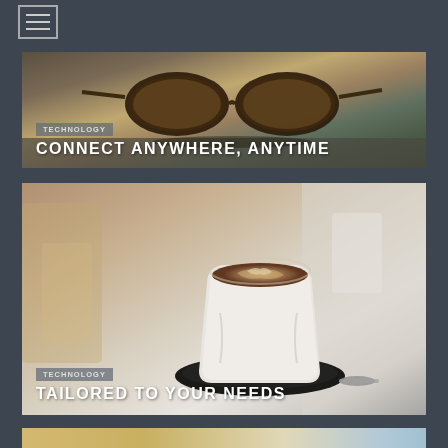Navigation menu icon
[Figure (photo): Photo of sunglasses resting on a surface outdoors, blurred background with bokeh effect]
TECHNOLOGY
CONNECT ANYWHERE, ANYTIME
[Figure (photo): Close-up photo of a latte art coffee in a glass cup on a dark saucer, with blurred cafe background]
TECHNOLOGY
TAILORED TO YOUR NEEDS
[Figure (photo): Partially visible third card showing a warm outdoor cafe scene, cropped at bottom of page]